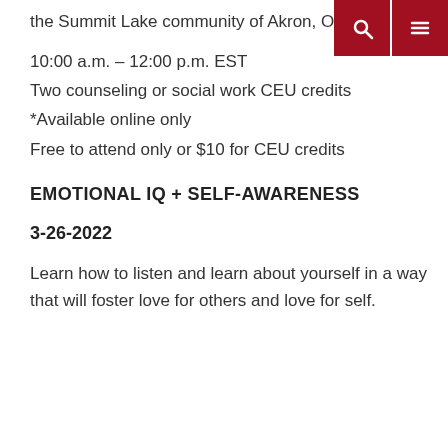the Summit Lake community of Akron, O
10:00 a.m. – 12:00 p.m. EST
Two counseling or social work CEU credits
*Available online only
Free to attend only or $10 for CEU credits
EMOTIONAL IQ + SELF-AWARENESS
3-26-2022
Learn how to listen and learn about yourself in a way that will foster love for others and love for self.